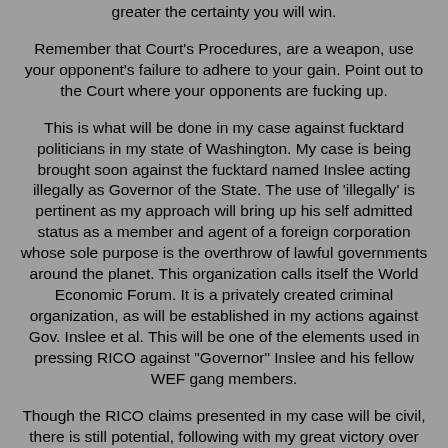greater the certainty you will win.
Remember that Court's Procedures, are a weapon, use your opponent's failure to adhere to your gain. Point out to the Court where your opponents are fucking up.
This is what will be done in my case against fucktard politicians in my state of Washington. My case is being brought soon against the fucktard named Inslee acting illegally as Governor of the State. The use of 'illegally' is pertinent as my approach will bring up his self admitted status as a member and agent of a foreign corporation whose sole purpose is the overthrow of lawful governments around the planet. This organization calls itself the World Economic Forum. It is a privately created criminal organization, as will be established in my actions against Gov. Inslee et al. This will be one of the elements used in pressing RICO against "Governor" Inslee and his fellow WEF gang members.
Though the RICO claims presented in my case will be civil, there is still potential, following with my great victory over